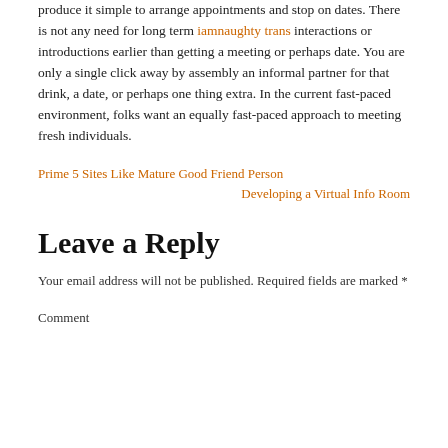produce it simple to arrange appointments and stop on dates. There is not any need for long term iamnaughty trans interactions or introductions earlier than getting a meeting or perhaps date. You are only a single click away by assembly an informal partner for that drink, a date, or perhaps one thing extra. In the current fast-paced environment, folks want an equally fast-paced approach to meeting fresh individuals.
Prime 5 Sites Like Mature Good Friend Person
Developing a Virtual Info Room
Leave a Reply
Your email address will not be published. Required fields are marked *
Comment